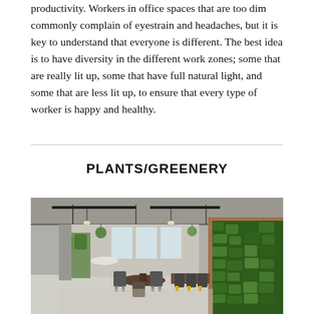productivity. Workers in office spaces that are too dim commonly complain of eyestrain and headaches, but it is key to understand that everyone is different.  The best idea is to have diversity in the different work zones; some that are really lit up, some that have full natural light, and some that are less lit up, to ensure that every type of worker is happy and healthy.
PLANTS/GREENERY
[Figure (photo): Interior photo of a modern office space with lush green living plant walls on the right side, hanging pendant lights, industrial exposed ceiling with black track lighting, round dining table with chairs in yellow and gray, and plants throughout.]